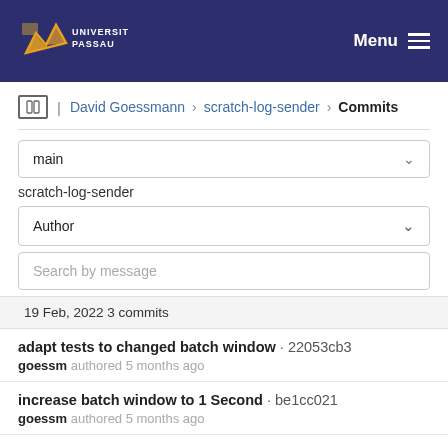Universität Passau — Menu
David Goessmann > scratch-log-sender > Commits
main
scratch-log-sender
Author
Search by message
19 Feb, 2022 3 commits
adapt tests to changed batch window · 22053cb3
goessm authored 5 months ago
increase batch window to 1 Second · be1cc021
goessm authored 5 months ago